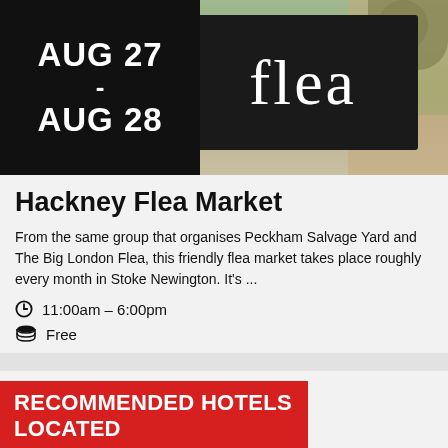[Figure (photo): Photo of a flea market sign reading 'flea' in white serif letters on a dark background, with a date badge overlay showing AUG 27 - AUG 28 in white text on black background]
Hackney Flea Market
From the same group that organises Peckham Salvage Yard and The Big London Flea, this friendly flea market takes place roughly every month in Stoke Newington. It's ...
11:00am – 6:00pm
Free
RECOMMENDED HOTELS LOCATED NEARBY
More London Hotels >